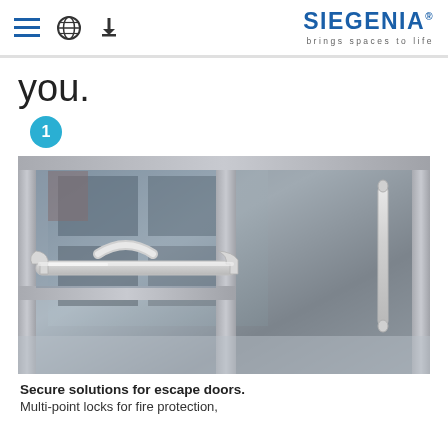SIEGENIA brings spaces to life
you.
1
[Figure (photo): Close-up photograph of a silver/aluminum push bar panic exit device (escape door hardware) mounted on a glass and aluminum frame commercial door, with a vertical pull bar handle visible on the right.]
Secure solutions for escape doors. Multi-point locks for fire protection,